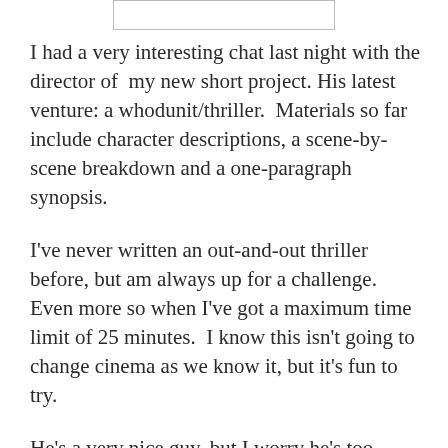[Figure (other): Partial box/border visible at top of page, likely image or header cut off]
I had a very interesting chat last night with the director of my new short project. His latest venture: a whodunit/thriller. Materials so far include character descriptions, a scene-by-scene breakdown and a one-paragraph synopsis.
I've never written an out-and-out thriller before, but am always up for a challenge. Even more so when I've got a maximum time limit of 25 minutes. I know this isn't going to change cinema as we know it, but it's fun to try.
He's a very nice guy, but I worry he's too influenced by what's out in theatres when he